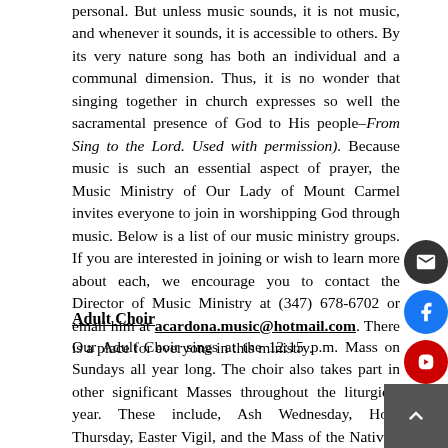personal. But unless music sounds, it is not music, and whenever it sounds, it is accessible to others. By its very nature song has both an individual and a communal dimension. Thus, it is no wonder that singing together in church expresses so well the sacramental presence of God to His people–From Sing to the Lord. Used with permission). Because music is such an essential aspect of prayer, the Music Ministry of Our Lady of Mount Carmel invites everyone to join in worshipping God through music. Below is a list of our music ministry groups. If you are interested in joining or wish to learn more about each, we encourage you to contact the Director of Music Ministry at (347) 678-6702 or email him at acardona.music@hotmail.com. There is a place for everyone in this ministry.
Adult Choir
Our Adult Choir sings at the 12:15 p.m. Mass on Sundays all year long. The choir also takes part in other significant Masses throughout the liturgical year. These include, Ash Wednesday, Holy Thursday, Easter Vigil, and the Mass of the Nativity of the Lord. Our Adult Choir also sings at our